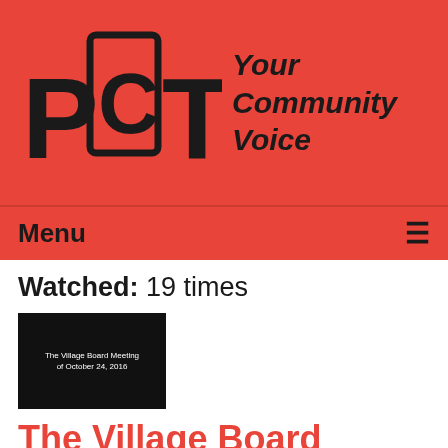[Figure (logo): PCTV logo with stylized PC in brackets and TV text, with tagline 'Your Community Voice' in italic bold]
Menu ≡
Watched: 19 times
[Figure (screenshot): Dark video thumbnail showing text 'The Village Board Meeting of October 24, 2016']
The Village Board Meeting of 10-24-16
Airdate: 10/24/2016
Attended: T...